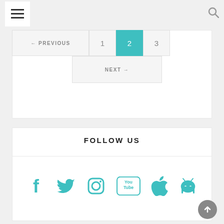Navigation header with hamburger menu and search icon
[Figure (screenshot): Pagination navigation showing PREVIOUS, page 1, page 2 (active, teal), page 3 buttons, and NEXT button below]
FOLLOW US
[Figure (infographic): Social media icons: Facebook, Twitter, Instagram, YouTube, Apple, Android — all in teal color]